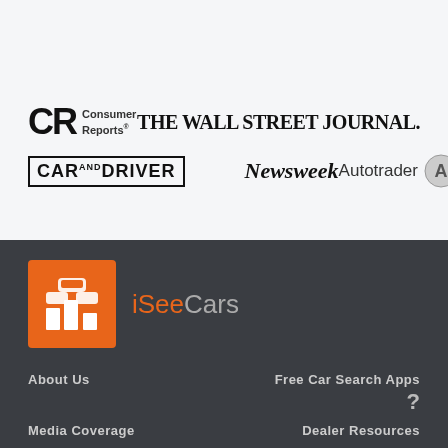Wheel Info
[Figure (logo): Consumer Reports logo]
[Figure (logo): The Wall Street Journal logo]
[Figure (logo): Car and Driver logo]
[Figure (logo): Newsweek logo]
[Figure (logo): Autotrader logo]
[Figure (logo): iSeeCars logo]
About Us
Free Car Search Apps
?
Media Coverage
Dealer Resources